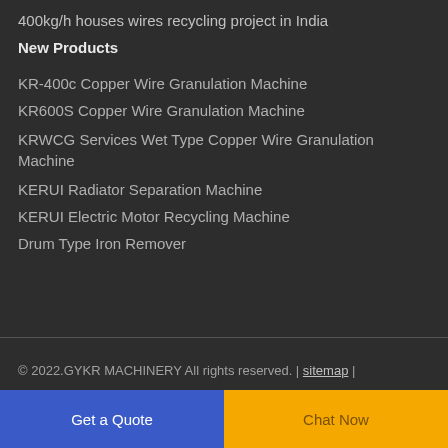400kg/h houses wires recycling project in India
New Products
KR-400c Copper Wire Granulation Machine
KR600S Copper Wire Granulation Machine
KRWCG Services Wet Type Copper Wire Granulation Machine
KERUI Radiator Separation Machine
KERUI Electric Motor Recycling Machine
Drum Type Iron Remover
© 2022.GYKR MACHINERY All rights reserved. | sitemap |
Get a Quote
Chat Now